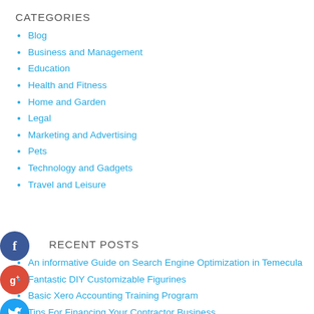CATEGORIES
Blog
Business and Management
Education
Health and Fitness
Home and Garden
Legal
Marketing and Advertising
Pets
Technology and Gadgets
Travel and Leisure
[Figure (infographic): Social media icons: Facebook (blue circle with f), Google+ (red circle with g+), Twitter (blue circle with bird), Add/share (blue circle with +)]
RECENT POSTS
An informative Guide on Search Engine Optimization in Temecula
Fantastic DIY Customizable Figurines
Basic Xero Accounting Training Program
Tips For Financing Your Contractor Business